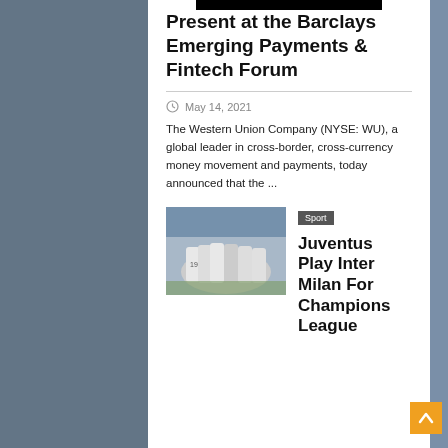Present at the Barclays Emerging Payments & Fintech Forum
May 14, 2021
The Western Union Company (NYSE: WU), a global leader in cross-border, cross-currency money movement and payments, today announced that the ...
[Figure (photo): Soccer players in white and black jerseys celebrating together on a field, stadium seating visible in background]
Sport
Juventus Play Inter Milan For Champions League